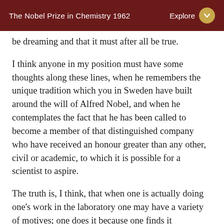The Nobel Prize in Chemistry 1962 | Explore
be dreaming and that it must after all be true.
I think anyone in my position must have some thoughts along these lines, when he remembers the unique tradition which you in Sweden have built around the will of Alfred Nobel, and when he contemplates the fact that he has been called to become a member of that distinguished company who have received an honour greater than any other, civil or academic, to which it is possible for a scientist to aspire.
The truth is, I think, that when one is actually doing one's work in the laboratory one may have a variety of motives; one does it because one finds it interesting, because one is trying to solve a problem